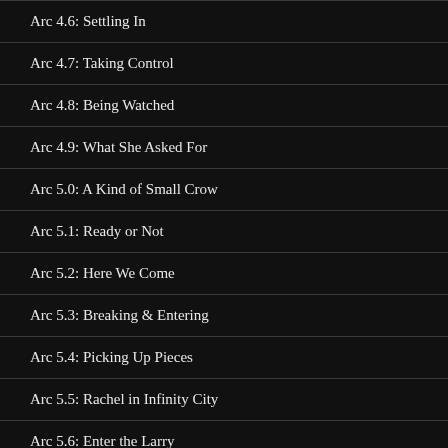Arc 4.6: Settling In
Arc 4.7: Taking Control
Arc 4.8: Being Watched
Arc 4.9: What She Asked For
Arc 5.0: A Kind of Small Crow
Arc 5.1: Ready or Not
Arc 5.2: Here We Come
Arc 5.3: Breaking & Entering
Arc 5.4: Picking Up Pieces
Arc 5.5: Rachel in Infinity City
Arc 5.6: Enter the Larry
Book 06: Glory